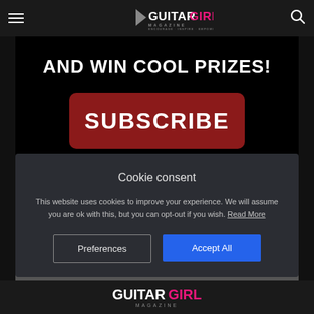Guitar Girl Magazine — ENCOURAGE. INSPIRE. EMPOWER.
[Figure (screenshot): Dark banner with bold white uppercase text 'AND WIN COOL PRIZES!' and a dark red rounded button with bold white uppercase text 'SUBSCRIBE']
Cookie consent
This website uses cookies to improve your experience. We will assume you are ok with this, but you can opt-out if you wish. Read More
Preferences | Accept All